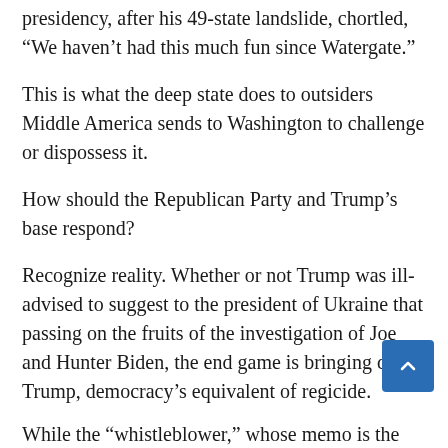presidency, after his 49-state landslide, chortled, “We haven’t had this much fun since Watergate.”
This is what the deep state does to outsiders Middle America sends to Washington to challenge or dispossess it.
How should the Republican Party and Trump’s base respond?
Recognize reality. Whether or not Trump was ill-advised to suggest to the president of Ukraine that passing on the fruits of the investigation of Joe and Hunter Biden, the end game is bringing down Trump, democracy’s equivalent of regicide.
While the “whistleblower,” whose memo is the basis of these impeachment hearings, is well on his way to Beltway